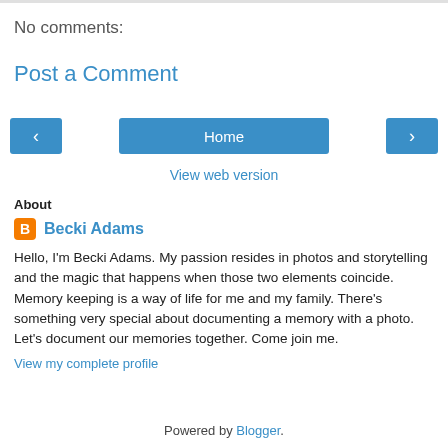No comments:
Post a Comment
[Figure (screenshot): Navigation bar with left arrow button, Home button, and right arrow button]
View web version
About
Becki Adams
Hello, I'm Becki Adams. My passion resides in photos and storytelling and the magic that happens when those two elements coincide. Memory keeping is a way of life for me and my family. There's something very special about documenting a memory with a photo. Let's document our memories together. Come join me.
View my complete profile
Powered by Blogger.